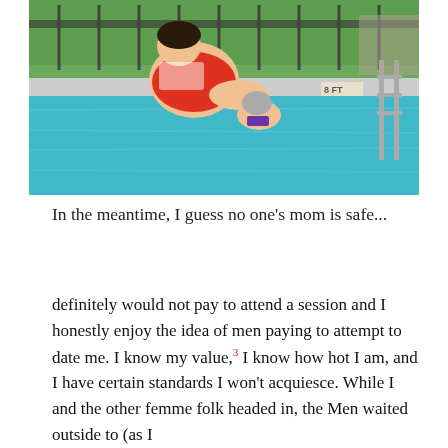[Figure (photo): A swimming pool scene. A large person in a red swimsuit is sitting on the edge or ledge of a pool, while another person (older woman with grey hair, wearing a purple swimsuit) is in the water. Pool ladder visible on the right. A sign reading '8 FT' is visible. Trees and a fence in the background.]
In the meantime, I guess no one's mom is safe...
definitely would not pay to attend a session and I honestly enjoy the idea of men paying to attempt to date me. I know my value,³ I know how hot I am, and I have certain standards I won't acquiesce. While I and the other femme folk headed in, the Men waited outside to (as I